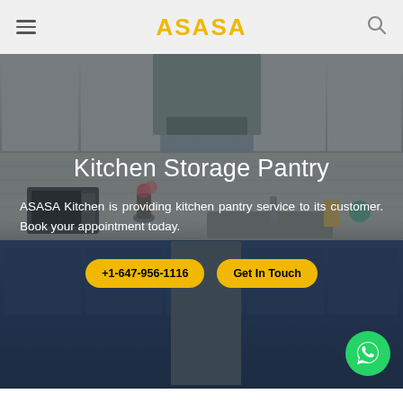ASASA — navigation bar with hamburger menu and search icon
Kitchen Storage Pantry
ASASA Kitchen is providing kitchen pantry service to its customer. Book your appointment today.
+1-647-956-1116
Get In Touch
[Figure (photo): Kitchen interior with white upper cabinets, blue lower cabinets, stainless steel sink, microwave on counter, and various kitchen items. Dark overlay applied to the image.]